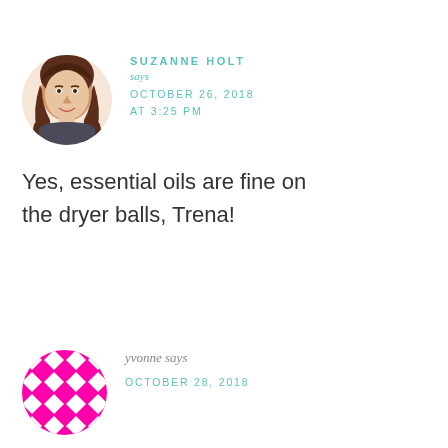[Figure (photo): Headshot photo of Suzanne Holt, a woman with long brown wavy hair, smiling, on white background]
SUZANNE HOLT says OCTOBER 26, 2018 AT 3:25 PM
Yes, essential oils are fine on the dryer balls, Trena!
[Figure (illustration): Abstract geometric pattern in magenta/pink with diamond and chevron shapes, used as avatar for yvonne]
yvonne says OCTOBER 28, 2018